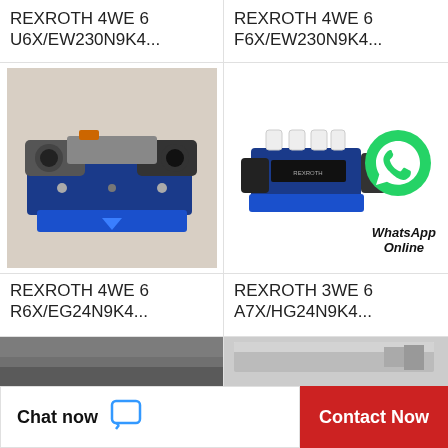REXROTH 4WE 6 U6X/EW230N9K4...
REXROTH 4WE 6 F6X/EW230N9K4...
[Figure (photo): Blue Rexroth hydraulic directional control valve 4WE6 R6X/EG24N9K4]
[Figure (photo): Blue Rexroth hydraulic directional control valve with WhatsApp Online overlay and green WhatsApp icon]
REXROTH 4WE 6 R6X/EG24N9K4...
REXROTH 3WE 6 A7X/HG24N9K4...
[Figure (photo): Partial view of a dark metallic valve/component (cut off at bottom)]
[Figure (photo): Partial view of a light-colored valve/component (cut off at bottom)]
Chat now
Contact Now